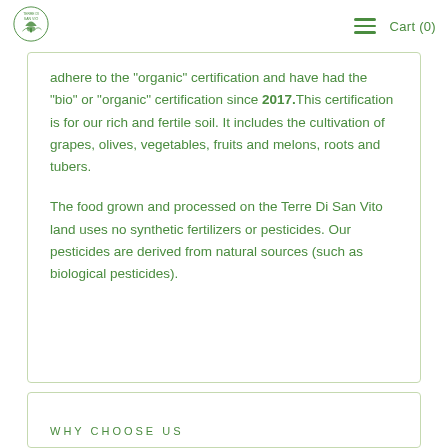Terre Di San Vito — Cart (0)
adhere to the "organic" certification and have had the "bio" or "organic" certification since 2017. This certification is for our rich and fertile soil. It includes the cultivation of grapes, olives, vegetables, fruits and melons, roots and tubers.
The food grown and processed on the Terre Di San Vito land uses no synthetic fertilizers or pesticides. Our pesticides are derived from natural sources (such as biological pesticides).
WHY CHOOSE US